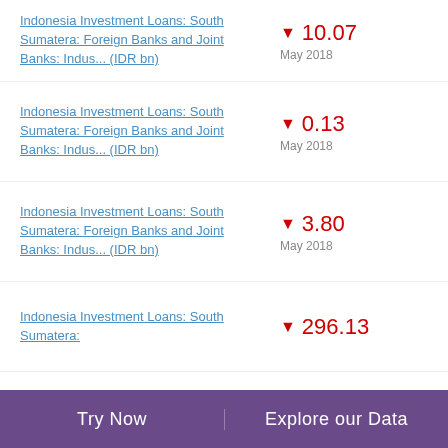Indonesia Investment Loans: South Sumatera: Foreign Banks and Joint Banks: Indus... (IDR bn) ▼ 10.07 May 2018
Indonesia Investment Loans: South Sumatera: Foreign Banks and Joint Banks: Indus... (IDR bn) ▼ 0.13 May 2018
Indonesia Investment Loans: South Sumatera: Foreign Banks and Joint Banks: Indus... (IDR bn) ▼ 3.80 May 2018
Indonesia Investment Loans: South Sumatera: (IDR bn) ▼ 296.13
Try Now    Explore our Data